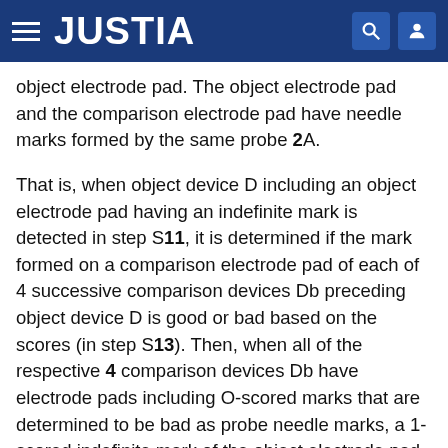JUSTIA
object electrode pad. The object electrode pad and the comparison electrode pad have needle marks formed by the same probe 2A.
That is, when object device D including an object electrode pad having an indefinite mark is detected in step S11, it is determined if the mark formed on a comparison electrode pad of each of 4 successive comparison devices Db preceding object device D is good or bad based on the scores (in step S13). Then, when all of the respective 4 comparison devices Db have electrode pads including O-scored marks that are determined to be bad as probe needle marks, a 1-scored indefinite mark of the object electrode pad is determined to be bad (x), thereby determining that object device D is bad (in step S14).